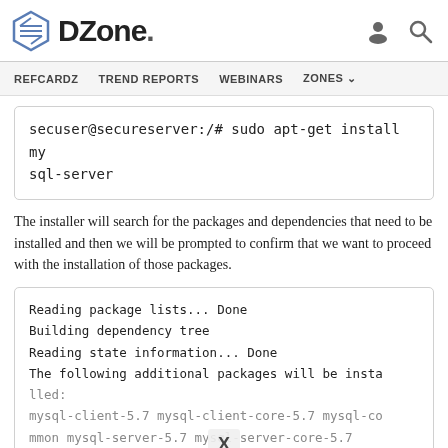DZone. [logo] [user icon] [search icon]
REFCARDZ   TREND REPORTS   WEBINARS   ZONES
secuser@secureserver:/# sudo apt-get install mysql-server
The installer will search for the packages and dependencies that need to be installed and then we will be prompted to confirm that we want to proceed with the installation of those packages.
Reading package lists... Done
Building dependency tree
Reading state information... Done
The following additional packages will be installed:
mysql-client-5.7 mysql-client-core-5.7 mysql-common mysql-server-5.7 mysql-server-core-5.7
Suggested packages:
tinyca
The following NEW packages will be installed